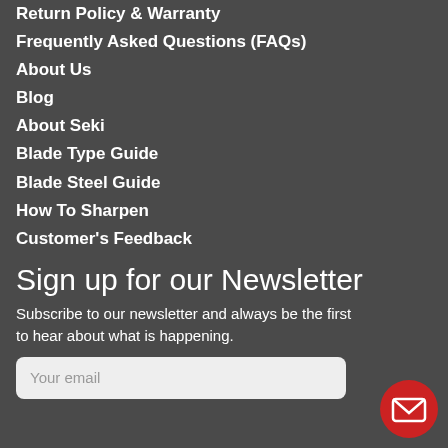Return Policy & Warranty
Frequently Asked Questions (FAQs)
About Us
Blog
About Seki
Blade Type Guide
Blade Steel Guide
How To Sharpen
Customer's Feedback
Sign up for our Newsletter
Subscribe to our newsletter and always be the first to hear about what is happening.
[Figure (other): Email input field with placeholder text 'Your email']
[Figure (illustration): Red circular button with white envelope/mail icon]